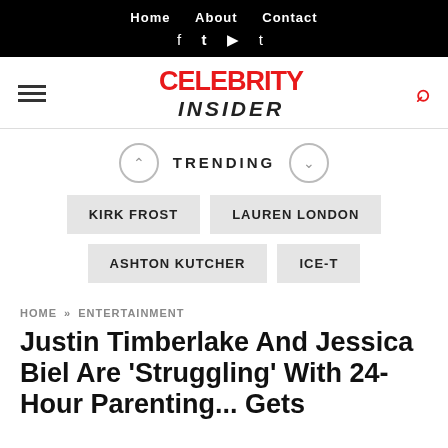Home   About   Contact
f  t  ▶  t
[Figure (logo): Celebrity Insider logo with hamburger menu and search icon]
TRENDING
KIRK FROST   LAUREN LONDON   ASHTON KUTCHER   ICE-T
HOME » ENTERTAINMENT
Justin Timberlake And Jessica Biel Are 'Struggling' With 24-Hour Parenting... Gets